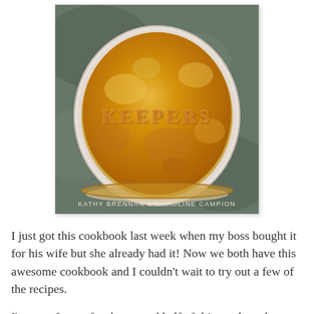[Figure (photo): Book cover of 'Keepers' cookbook by Kathy Brennan & Caroline Campion. Cover shows a golden-brown pastry pie in a white oval dish with the word KEEPERS spelled out in pastry letters on top. Dark grey/green background.]
I just got this cookbook last week when my boss bought it for his wife but she already had it! Now we both have this awesome cookbook and I couldn't wait to try out a few of the recipes.
I'm out of town for the second half of this week so the meals for Wednesday and Friday are ones that I can make a head